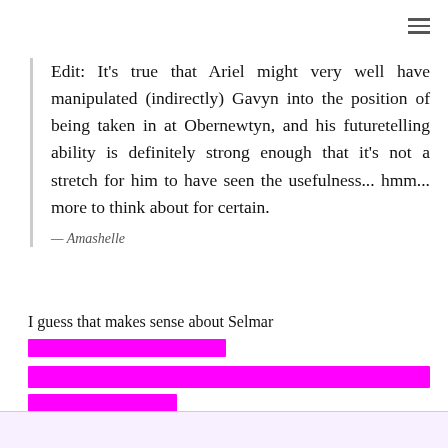Edit: It's true that Ariel might very well have manipulated (indirectly) Gavyn into the position of being taken in at Obernewtyn, and his futuretelling ability is definitely strong enough that it's not a stretch for him to have seen the usefulness... hmm... more to think about for certain.
— Amashelle
I guess that makes sense about Selmar [redacted]